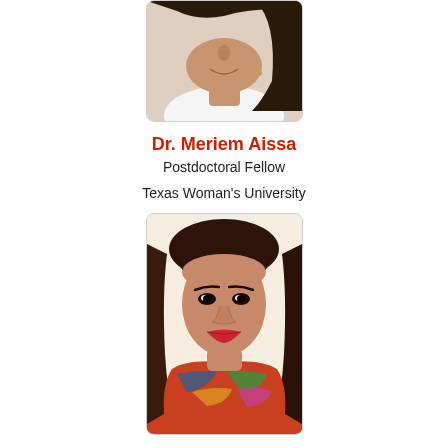[Figure (photo): Partial photo of Dr. Meriem Aissa, showing lower face/neck, cropped at top, wearing white top, with dark hair]
Dr. Meriem Aissa
Postdoctoral Fellow
Texas Woman's University
[Figure (photo): Portrait photo of a young woman with long dark brown hair, wearing a colorful scarf, light background]